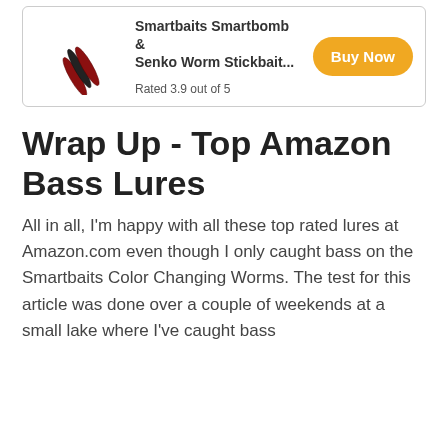[Figure (other): Product card showing Smartbaits Smartbomb & Senko Worm Stickbait fishing lures image on left, product title and rating in center, orange Buy Now button on right]
Wrap Up - Top Amazon Bass Lures
All in all, I'm happy with all these top rated lures at Amazon.com even though I only caught bass on the Smartbaits Color Changing Worms. The test for this article was done over a couple of weekends at a small lake where I've caught bass